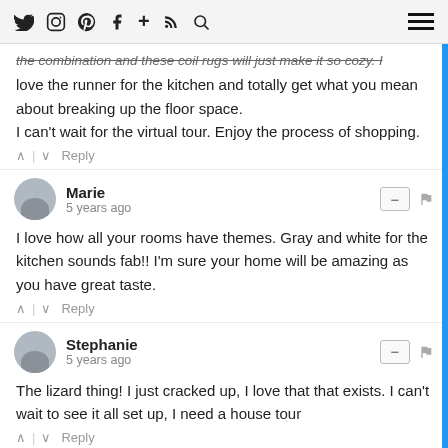Twitter | Instagram | Pinterest | Facebook | + | RSS | Search | Menu
the combination and these coil rugs will just make it so cozy. I love the runner for the kitchen and totally get what you mean about breaking up the floor space.
I can't wait for the virtual tour. Enjoy the process of shopping.
^ | v Reply
Marie
5 years ago
I love how all your rooms have themes. Gray and white for the kitchen sounds fab!! I'm sure your home will be amazing as you have great taste.
^ | v Reply
Stephanie
5 years ago
The lizard thing! I just cracked up, I love that that exists. I can't wait to see it all set up, I need a house tour
^ | v Reply
Jana @ Jana Says